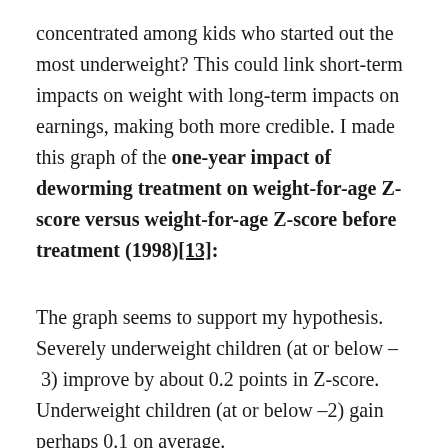concentrated among kids who started out the most underweight? This could link short-term impacts on weight with long-term impacts on earnings, making both more credible. I made this graph of the one-year impact of deworming treatment on weight-for-age Z-score versus weight-for-age Z-score before treatment (1998)[13]:
The graph seems to support my hypothesis. Severely underweight children (at or below – 3) improve by about 0.2 points in Z-score. Underweight children (at or below –2) gain perhaps 0.1 on average.